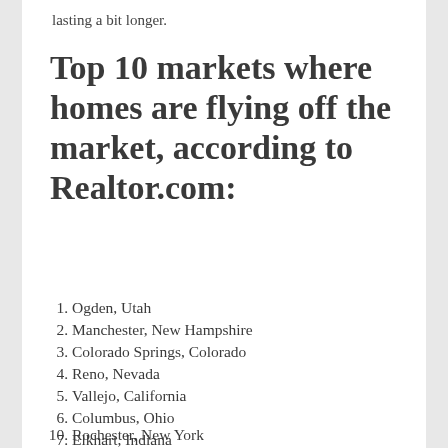lasting a bit longer.
Top 10 markets where homes are flying off the market, according to Realtor.com:
1. Ogden, Utah
2. Manchester, New Hampshire
3. Colorado Springs, Colorado
4. Reno, Nevada
5. Vallejo, California
6. Columbus, Ohio
7. Elkhart, Indiana
8. Austin, Texas
9. Topeka, Kansas
10. Rochester, New York